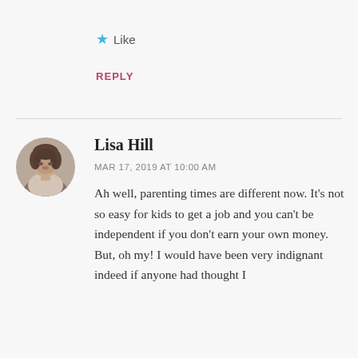★ Like
REPLY
[Figure (photo): Circular avatar photo of Lisa Hill, a black-and-white childhood photo of a young girl]
Lisa Hill
MAR 17, 2019 AT 10:00 AM
Ah well, parenting times are different now. It's not so easy for kids to get a job and you can't be independent if you don't earn your own money. But, oh my! I would have been very indignant indeed if anyone had thought I